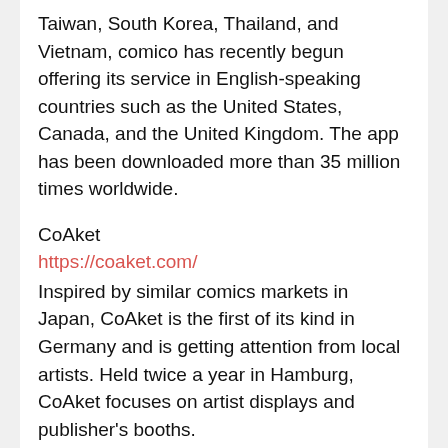Taiwan, South Korea, Thailand, and Vietnam, comico has recently begun offering its service in English-speaking countries such as the United States, Canada, and the United Kingdom. The app has been downloaded more than 35 million times worldwide.
CoAket
https://coaket.com/
Inspired by similar comics markets in Japan, CoAket is the first of its kind in Germany and is getting attention from local artists. Held twice a year in Hamburg, CoAket focuses on artist displays and publisher's booths.
Tokyo name tank
https://nametank.jp/
Our goal is to support everyone in creating their own manga while having fun drawing it. We have